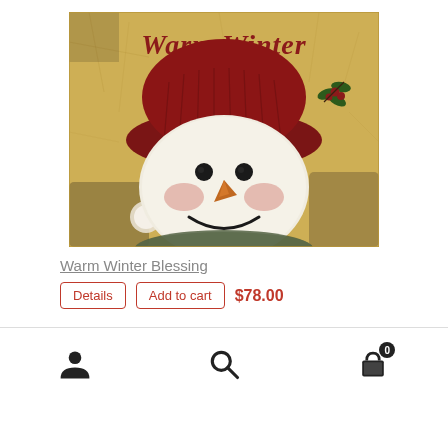[Figure (illustration): Vintage-style painting of a snowman face wearing a dark red knit hat with holly berries, rosy cheeks, carrot nose, and a cheerful smile. Text reads 'Warm Winter Blessings' in red cursive script at the top on a crackled golden/tan background.]
Warm Winter Blessing
Details  Add to cart  $78.00